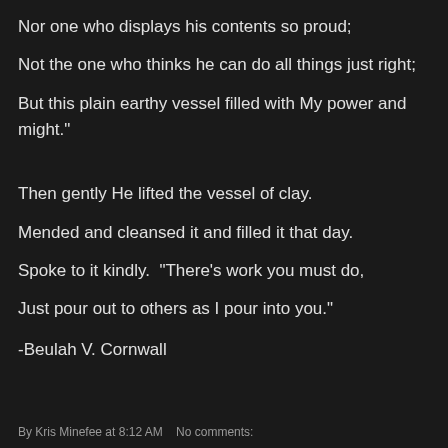Nor one who displays his contents so proud;
Not the one who thinks he can do all things just right;
But this plain earthy vessel filled with My power and might."
Then gently He lifted the vessel of clay.
Mended and cleansed it and filled it that day.
Spoke to it kindly.  "There's work you must do,
Just pour out to others as I pour into you."
-Beulah V. Cornwall
By Kris Minefee at 8:12 AM    No comments: